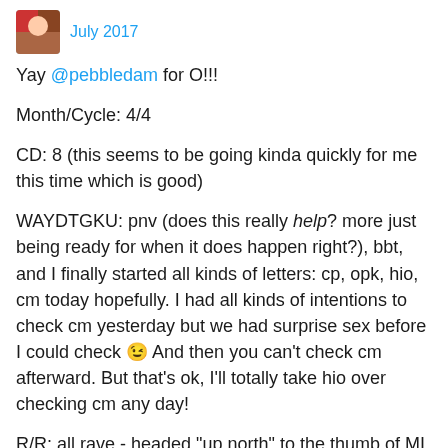July 2017
Yay @pebbledam for O!!!
Month/Cycle: 4/4
CD: 8 (this seems to be going kinda quickly for me this time which is good)
WAYDTGKU: pnv (does this really help? more just being ready for when it does happen right?), bbt, and I finally started all kinds of letters: cp, opk, hio, cm today hopefully. I had all kinds of intentions to check cm yesterday but we had surprise sex before I could check 😉 And then you can't check cm afterward. But that's ok, I'll totally take hio over checking cm any day!
R/R: all rave - headed "up north" to the thumb of MI for beach vaca with the girls tomorrow. It'll be pretty chill so hopefully I'll have time to keep humping. Hope the drinking